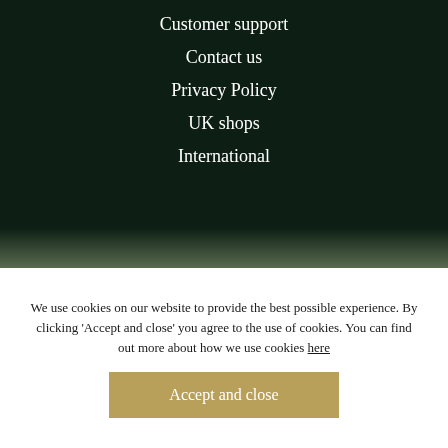Customer support
Contact us
Privacy Policy
UK shops
International
We use cookies on our website to provide the best possible experience. By clicking ‘Accept and close’ you agree to the use of cookies. You can find out more about how we use cookies here
Accept and close